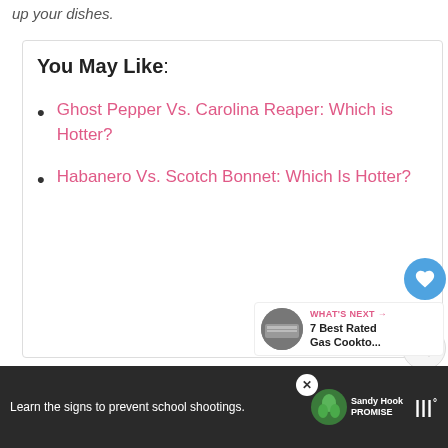up your dishes.
You May Like:
Ghost Pepper Vs. Carolina Reaper: Which is Hotter?
Habanero Vs. Scotch Bonnet: Which Is Hotter?
1
WHAT'S NEXT → 7 Best Rated Gas Cookto...
Learn the signs to prevent school shootings.